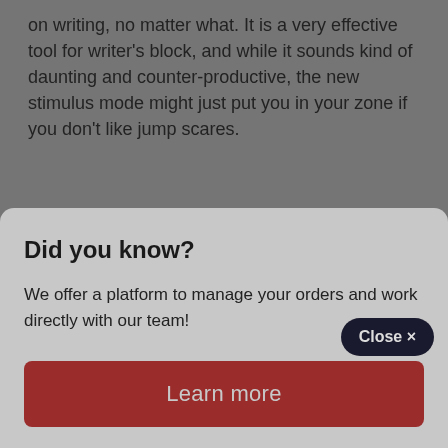on writing, no matter what. It is a very effective tool for writer's block, and while it sounds kind of daunting and counter-productive, the new stimulus mode might just put you in your zone if you don't like jump scares.
Write or Die is a paid writing software option. You can get the app for your iPad for $9.99 or a desktop version for Microsoft, iOS, or Linux will require a paym…
Close ×
Did you know?
We offer a platform to manage your orders and work directly with our team!
Learn more
…diting and positioning content all in one… The software…